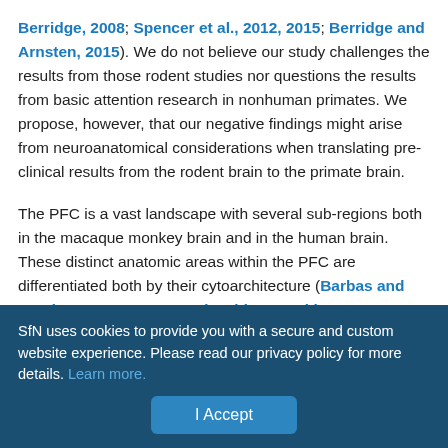Berridge, 2008; Spencer et al., 2012, 2015; Berridge and Arnsten, 2015). We do not believe our study challenges the results from those rodent studies nor questions the results from basic attention research in nonhuman primates. We propose, however, that our negative findings might arise from neuroanatomical considerations when translating pre-clinical results from the rodent brain to the primate brain.
The PFC is a vast landscape with several sub-regions both in the macaque monkey brain and in the human brain. These distinct anatomic areas within the PFC are differentiated both by their cytoarchitecture (Barbas and Pandya, 1989; Preuss and Goldman-Rakic, 1991; Petrides and Pandya, 1994), their corticocortical connectivity and sub-cortical projection pattern.
SfN uses cookies to provide you with a secure and custom website experience. Please read our privacy policy for more details. Learn more